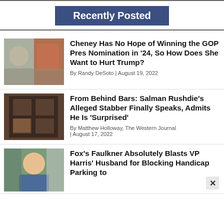Recently Posted
[Figure (photo): Thumbnail image of two people, one a woman and one a man in a red tie pointing]
Cheney Has No Hope of Winning the GOP Pres Nomination in '24, So How Does She Want to Hurt Trump?
By Randy DeSoto | August 19, 2022
[Figure (photo): Thumbnail image of prison bars with a bunk bed]
From Behind Bars: Salman Rushdie's Alleged Stabber Finally Speaks, Admits He Is 'Surprised'
By Matthew Holloway, The Western Journal | August 17, 2022
[Figure (photo): Thumbnail image of a smiling man waving in a crowd]
Fox's Faulkner Absolutely Blasts VP Harris' Husband for Blocking Handicap Parking to